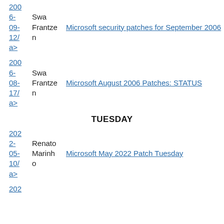200
6-
09-
12/
a>
Swa
Frantze
Microsoft security patches for September 2006
n
200
6-
08-
17/
a>
Swa
Frantze
Microsoft August 2006 Patches: STATUS
n
TUESDAY
202
2-
05-
10/
a>
Renato
Marinh
Microsoft May 2022 Patch Tuesday
o
202